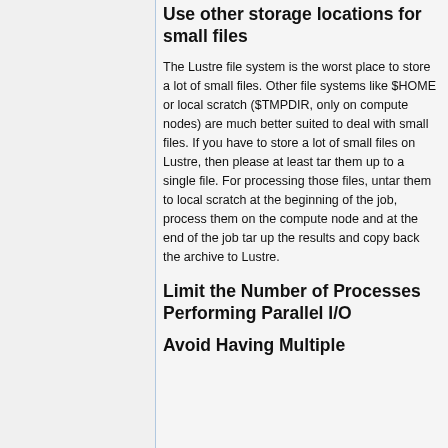Use other storage locations for small files
The Lustre file system is the worst place to store a lot of small files. Other file systems like $HOME or local scratch ($TMPDIR, only on compute nodes) are much better suited to deal with small files. If you have to store a lot of small files on Lustre, then please at least tar them up to a single file. For processing those files, untar them to local scratch at the beginning of the job, process them on the compute node and at the end of the job tar up the results and copy back the archive to Lustre.
Limit the Number of Processes Performing Parallel I/O
Avoid Having Multiple